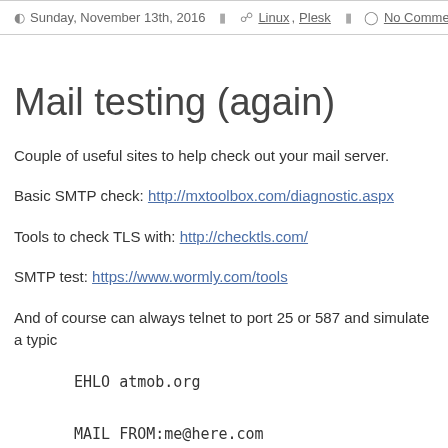Sunday, November 13th, 2016  Linux, Plesk  No Comments
Mail testing (again)
Couple of useful sites to help check out your mail server.
Basic SMTP check: http://mxtoolbox.com/diagnostic.aspx
Tools to check TLS with: http://checktls.com/
SMTP test: https://www.wormly.com/tools
And of course can always telnet to port 25 or 587 and simulate a typic
EHLO atmob.org
MAIL FROM:me@here.com
RCPT TO:you@there.com